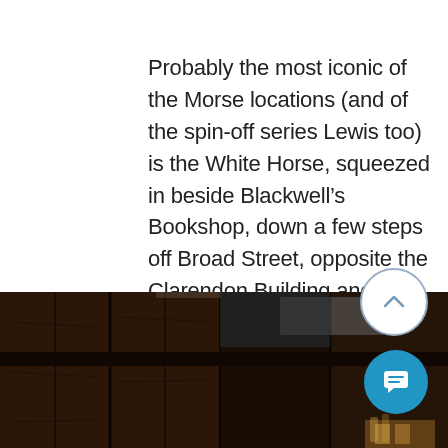Probably the most iconic of the Morse locations (and of the spin-off series Lewis too) is the White Horse, squeezed in beside Blackwell's Bookshop, down a few steps off Broad Street, opposite the Clarendon Building and the Sheldonian Theatre. The fact that it sits amongst Oxford's finest architecture made it pure eye candy for the ITV directors, and Morse visits here many times.
[Figure (photo): Interior photo of a dark wood-panelled pub, the White Horse in Oxford, showing wooden beams and panelling with dim lighting.]